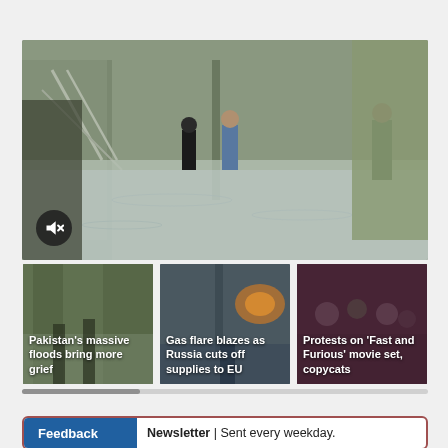[Figure (photo): Flooded street scene showing people wading through deep floodwater between buildings, with a mute button overlay in bottom-left corner]
[Figure (photo): Pakistan's massive floods bring more grief - thumbnail showing flooded street with people]
[Figure (photo): Gas flare blazes as Russia cuts off supplies to EU - thumbnail showing industrial scene]
[Figure (photo): Protests on 'Fast and Furious' movie set, copycats - thumbnail showing crowd scene]
Newsletter | Sent every weekday.
Feedback